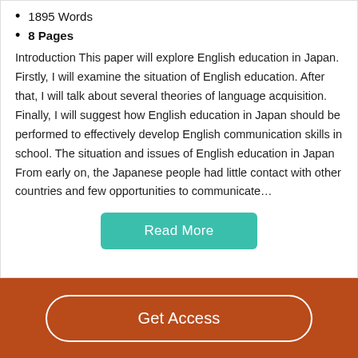1895 Words
8 Pages
Introduction This paper will explore English education in Japan. Firstly, I will examine the situation of English education. After that, I will talk about several theories of language acquisition. Finally, I will suggest how English education in Japan should be performed to effectively develop English communication skills in school. The situation and issues of English education in Japan From early on, the Japanese people had little contact with other countries and few opportunities to communicate…
Read More
Get Access